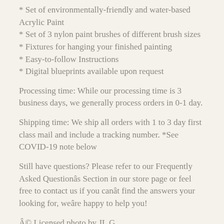* Set of environmentally-friendly and water-based Acrylic Paint
* Set of 3 nylon paint brushes of different brush sizes
* Fixtures for hanging your finished painting
* Easy-to-follow Instructions
* Digital blueprints available upon request
Processing time: While our processing time is 3 business days, we generally process orders in 0-1 day.
Shipping time: We ship all orders with 1 to 3 day first class mail and include a tracking number. *See COVID-19 note below
Still have questions? Please refer to our Frequently Asked Questionâs Section in our store page or feel free to contact us if you canât find the answers your looking for, weâre happy to help you!
Â© Licensed photo by JL G